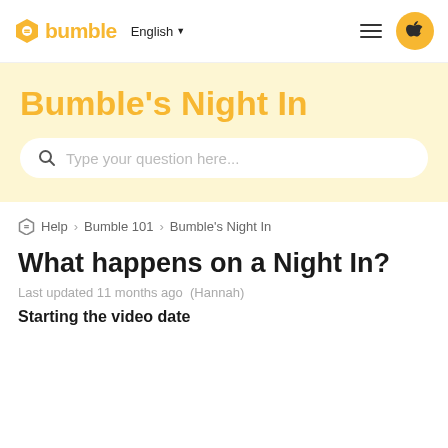[Figure (logo): Bumble logo with hexagon icon and wordmark in yellow, plus English language selector, hamburger menu, and Apple app button in nav bar]
Bumble's Night In
[Figure (screenshot): Search bar with placeholder text 'Type your question here...']
Help > Bumble 101 > Bumble's Night In
What happens on a Night In?
Last updated 11 months ago  (Hannah)
Starting the video date